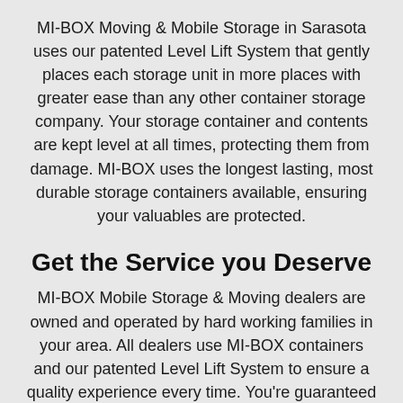MI-BOX Moving & Mobile Storage in Sarasota uses our patented Level Lift System that gently places each storage unit in more places with greater ease than any other container storage company. Your storage container and contents are kept level at all times, protecting them from damage. MI-BOX uses the longest lasting, most durable storage containers available, ensuring your valuables are protected.
Get the Service you Deserve
MI-BOX Mobile Storage & Moving dealers are owned and operated by hard working families in your area. All dealers use MI-BOX containers and our patented Level Lift System to ensure a quality experience every time. You're guaranteed to get the best possible prices and service from people who want to earn your business. Experience the difference - rent your next storage container from